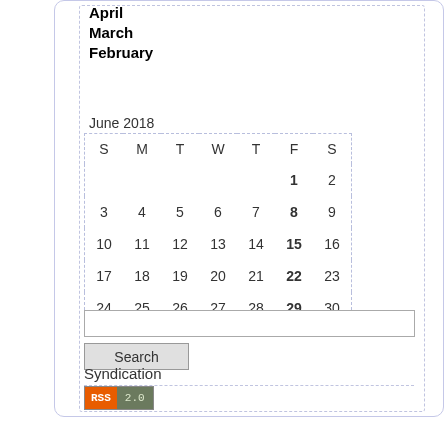April
March
February
June 2018
| S | M | T | W | T | F | S |
| --- | --- | --- | --- | --- | --- | --- |
|  |  |  |  |  | 1 | 2 |
| 3 | 4 | 5 | 6 | 7 | 8 | 9 |
| 10 | 11 | 12 | 13 | 14 | 15 | 16 |
| 17 | 18 | 19 | 20 | 21 | 22 | 23 |
| 24 | 25 | 26 | 27 | 28 | 29 | 30 |
Search
Syndication
[Figure (other): RSS 2.0 badge with orange RSS label and gray 2.0 label]